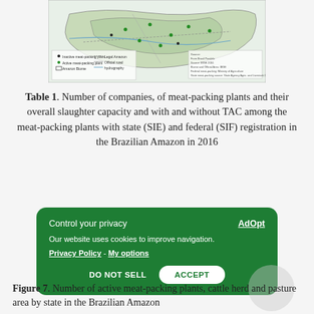[Figure (map): Map of the Brazilian Amazon showing inactive and active meat-packing plants, Amazon Biome boundary, Legal Amazon boundary, official roads, and hydrography. Green dots indicate active meat-packing plants, black dots indicate inactive ones.]
Table 1. Number of companies, of meat-packing plants and their overall slaughter capacity and with and without TAC among the meat-packing plants with state (SIE) and federal (SIF) registration in the Brazilian Amazon in 2016
Control your privacy
AdOpt
Our website uses cookies to improve navigation.
Privacy Policy - My options
DO NOT SELL   ACCEPT
Figure 7. Number of active meat-packing plants, cattle herd and pasture area by state in the Brazilian Amazon